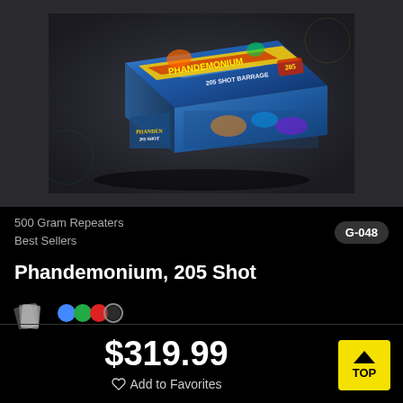[Figure (photo): Product photo of Phandemonium 205 Shot Barrage fireworks box with colorful blue, green, yellow, and red packaging against a dark background]
500 Gram Repeaters
Best Sellers
G-048
Phandemonium, 205 Shot
[Figure (illustration): Small icon shapes: a card-fan icon and colored circle icons (blue, green, red, white/outline)]
$319.99
♡ Add to Favorites
TOP